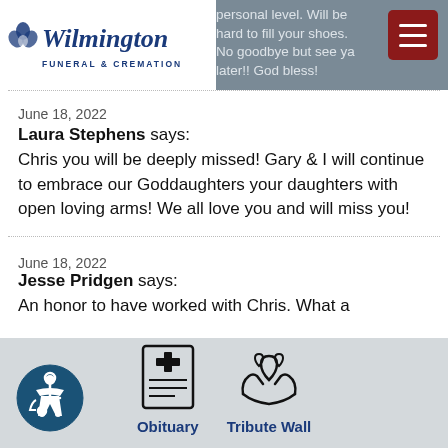Wilmington Funeral & Cremation — partial text: personal level. Will be hard to fill your shoes. No goodbye but see ya later!! God bless!
June 18, 2022
Laura Stephens says:
Chris you will be deeply missed! Gary & I will continue to embrace our Goddaughters your daughters with open loving arms! We all love you and will miss you!
June 18, 2022
Jesse Pridgen says:
An honor to have worked with Chris. What a
Obituary | Tribute Wall